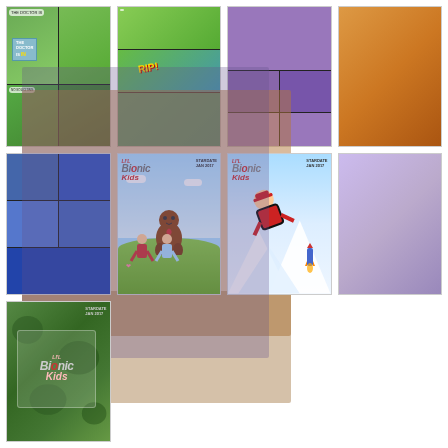[Figure (illustration): Comic book interior page thumbnail showing outdoor scene with characters, 'The Doctor Is IN' sign, multi-panel layout on green background]
[Figure (illustration): Comic book interior page thumbnail with multi-panel layout, 'RIP' action text, green outdoor scene with characters running]
[Figure (illustration): Comic book interior page thumbnail with purple/dark background, multiple characters in panels]
[Figure (illustration): Comic book interior page thumbnail, partially cropped at right edge, warm orange-brown tones]
[Figure (illustration): Comic book interior page thumbnail showing blue-toned scenes with multiple character panels]
[Figure (illustration): Li'l Bionic Kids comic book cover featuring Sasquatch/bigfoot character with two children running on green hill, light blue sky background]
[Figure (illustration): Li'l Bionic Kids comic book cover featuring child character in red suit flying through snow scene, winter/blue background]
[Figure (illustration): Comic book page or cover, partially cropped at right edge, blue-gray tones]
[Figure (illustration): Li'l Bionic Kids comic book cover with dark green camouflage-style background, logo text prominent]